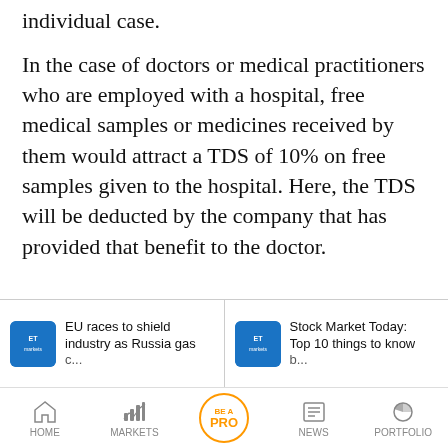individual case.
In the case of doctors or medical practitioners who are employed with a hospital, free medical samples or medicines received by them would attract a TDS of 10% on free samples given to the hospital. Here, the TDS will be deducted by the company that has provided that benefit to the doctor.
[Figure (screenshot): News article thumbnail: EU races to shield industry as Russia gas (cut off)]
[Figure (screenshot): News article thumbnail: Stock Market Today: Top 10 things to know (cut off)]
HOME   MARKETS   BE A PRO   NEWS   PORTFOLIO